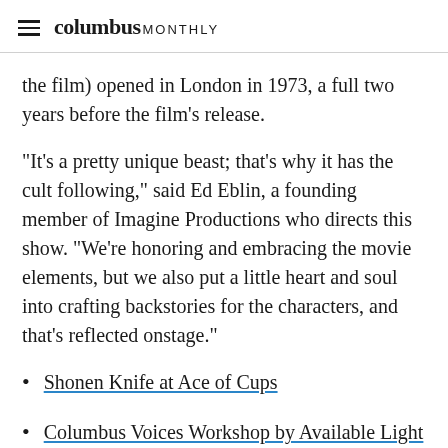columbus MONTHLY
the film) opened in London in 1973, a full two years before the film's release.
"It's a pretty unique beast; that's why it has the cult following," said Ed Eblin, a founding member of Imagine Productions who directs this show. "We're honoring and embracing the movie elements, but we also put a little heart and soul into crafting backstories for the characters, and that's reflected onstage."
Shonen Knife at Ace of Cups
Columbus Voices Workshop by Available Light Theatre
BalletMet Columbus presents "Night and Day"